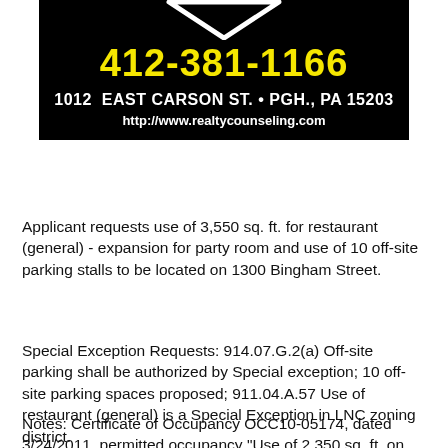[Figure (logo): Real estate counseling company banner with phone number 412-381-1166 in yellow, address 1012 EAST CARSON ST. PGH., PA 15203 in white, and website http://www.realtycounseling.com on black background with downward chevron logo]
Applicant requests use of 3,550 sq. ft. for restaurant (general) - expansion for party room and use of 10 off-site parking stalls to be located on 1300 Bingham Street.
Special Exception Requests: 914.07.G.2(a) Off-site parking shall be authorized by Special exception; 10 off-site parking spaces proposed; 911.04.A.57 Use of restaurant (general) is a Special Exception in LNC zoning district.
Notes: Certificate of Occupancy OCC10-05174, dated 3/24/2011, permitted occupancy "Use of 2,350 sq. ft. on the first floor as restaurant (limited) (Local Bar &